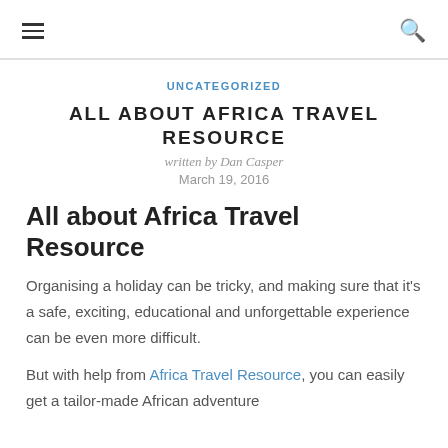☰  🔍
UNCATEGORIZED
ALL ABOUT AFRICA TRAVEL RESOURCE
written by Dan Casper
March 19, 2016
All about Africa Travel Resource
Organising a holiday can be tricky, and making sure that it's a safe, exciting, educational and unforgettable experience can be even more difficult.
But with help from Africa Travel Resource, you can easily get a tailor-made African adventure